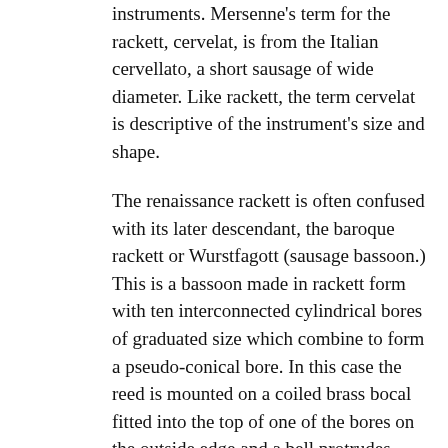instruments. Mersenne's term for the rackett, cervelat, is from the Italian cervellato, a short sausage of wide diameter. Like rackett, the term cervelat is descriptive of the instrument's size and shape.
The renaissance rackett is often confused with its later descendant, the baroque rackett or Wurstfagott (sausage bassoon.) This is a bassoon made in rackett form with ten interconnected cylindrical bores of graduated size which combine to form a pseudo-conical bore. In this case the reed is mounted on a coiled brass bocal fitted into the top of one of the bores on the outside edge and a bell protrudes upward from the central bore. The fingering and timbre are similar to the baroque bassoon.
Rebec: Bowed stringed instrument evolved from the Arabic rabab with somewhat pear-shaped body and rounded back. Rebecs usually had three strings but period iconography occasionally shows up to five. The body, neck and pegholder are carved from a single piece of hardwood, while the top is made